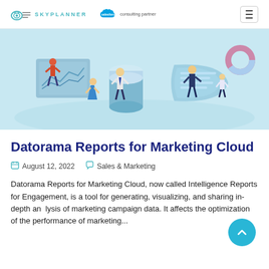SKYPLANNER | Salesforce consulting partner
[Figure (illustration): Isometric illustration of business people interacting with large data visualization screens and server stacks on a light blue background.]
Datorama Reports for Marketing Cloud
August 12, 2022   Sales & Marketing
Datorama Reports for Marketing Cloud, now called Intelligence Reports for Engagement, is a tool for generating, visualizing, and sharing in-depth analysis of marketing campaign data. It affects the optimization of the performance of marketing...